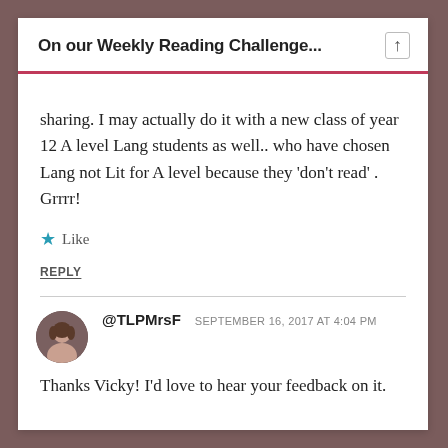On our Weekly Reading Challenge...
sharing. I may actually do it with a new class of year 12 A level Lang students as well.. who have chosen Lang not Lit for A level because they ‘don’t read’ . Grrrr!
★ Like
REPLY
@TLPMrsF  SEPTEMBER 16, 2017 AT 4:04 PM
Thanks Vicky! I’d love to hear your feedback on it.